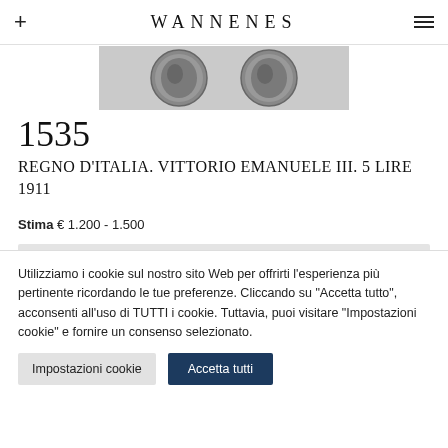WANNENES
[Figure (photo): Two silver coins shown side by side against a light gray background — obverse and reverse of an Italian 5 Lire coin.]
1535
REGNO D'ITALIA. VITTORIO EMANUELE III. 5 LIRE 1911
Stima € 1.200 - 1.500
Utilizziamo i cookie sul nostro sito Web per offrirti l'esperienza più pertinente ricordando le tue preferenze. Cliccando su "Accetta tutto", acconsenti all'uso di TUTTI i cookie. Tuttavia, puoi visitare "Impostazioni cookie" e fornire un consenso selezionato.
Impostazioni cookie | Accetta tutti